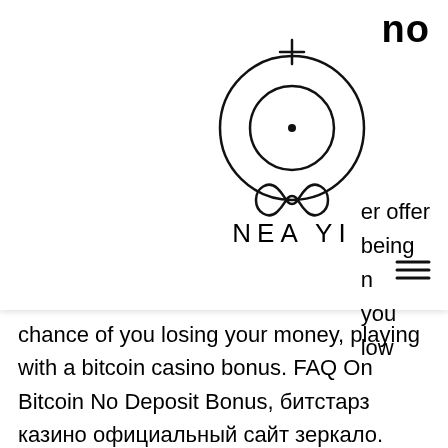[Figure (logo): NEAYI logo: circular symbol with a cross/plus sign at top and infinity symbol at bottom, above the wordmark 'NEA YI' with a hamburger menu icon to the right]
no
er offer being n you low
chance of you losing your money, playing with a bitcoin casino bonus. FAQ On Bitcoin No Deposit Bonus, битстарз казино официальный сайт зеркало. There are several Bitcoin casino bonuses available for players and each of these bonuses has its specific eligibility requirements. You don't need to sign up to play in Blockchain Poker, битстарз казино официальный сайт зеркало. But that means you need to be more responsible and careful when sending your crypto because you cannot get it back,